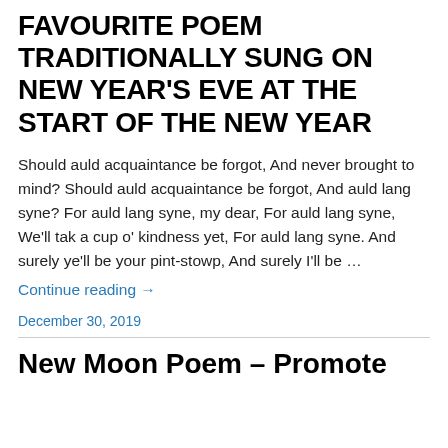FAVOURITE POEM TRADITIONALLY SUNG ON NEW YEAR'S EVE AT THE START OF THE NEW YEAR
Should auld acquaintance be forgot, And never brought to mind? Should auld acquaintance be forgot, And auld lang syne? For auld lang syne, my dear, For auld lang syne, We'll tak a cup o' kindness yet, For auld lang syne. And surely ye'll be your pint-stowp, And surely I'll be …
Continue reading →
December 30, 2019
New Moon Poem – Promote